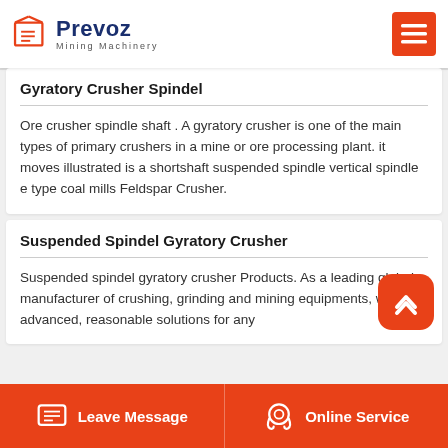Prevoz Mining Machinery
Gyratory Crusher Spindel
Ore crusher spindle shaft . A gyratory crusher is one of the main types of primary crushers in a mine or ore processing plant. it moves illustrated is a shortshaft suspended spindle vertical spindle e type coal mills Feldspar Crusher.
Suspended Spindel Gyratory Crusher
Suspended spindel gyratory crusher Products. As a leading global manufacturer of crushing, grinding and mining equipments, we offer advanced, reasonable solutions for any
Leave Message   Online Service